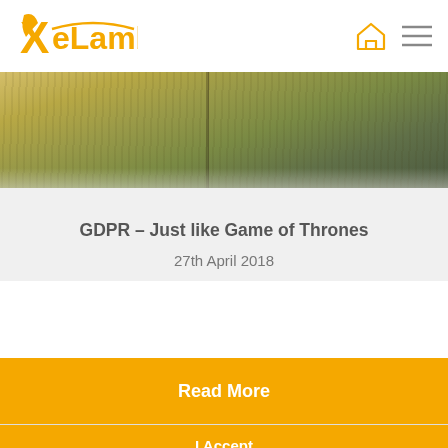XeLamb — logo and navigation icons
[Figure (photo): Hero image showing a field with tall grass/reeds in warm golden-green tones]
GDPR – Just like Game of Thrones
27th April 2018
Read More
I Accept
This website uses cookies to ensure you get the best experience. More info